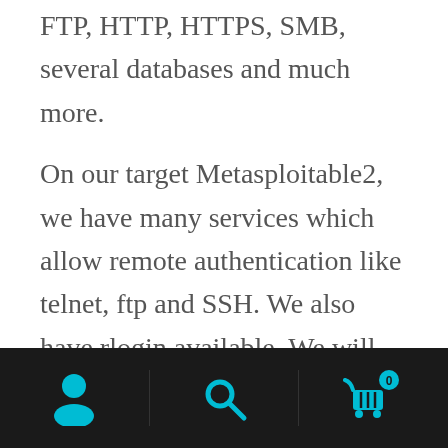FTP, HTTP, HTTPS, SMB, several databases and much more.
On our target Metasploitable2, we have many services which allow remote authentication like telnet, ftp and SSH. We also have rlogin available. We will use Hydra on one of these services. Hydra can be accessed from the applications menu of Kali Linux. It is available both in GUI and command line utility. For this tutorial, I'm using the graphical one.
Navigation bar with user, search, and cart icons